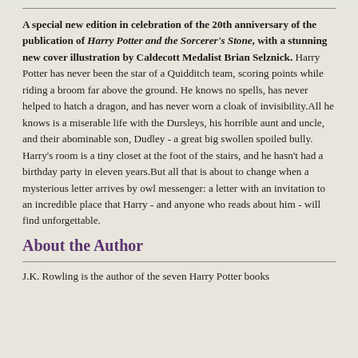A special new edition in celebration of the 20th anniversary of the publication of Harry Potter and the Sorcerer's Stone, with a stunning new cover illustration by Caldecott Medalist Brian Selznick. Harry Potter has never been the star of a Quidditch team, scoring points while riding a broom far above the ground. He knows no spells, has never helped to hatch a dragon, and has never worn a cloak of invisibility.All he knows is a miserable life with the Dursleys, his horrible aunt and uncle, and their abominable son, Dudley - a great big swollen spoiled bully. Harry's room is a tiny closet at the foot of the stairs, and he hasn't had a birthday party in eleven years.But all that is about to change when a mysterious letter arrives by owl messenger: a letter with an invitation to an incredible place that Harry - and anyone who reads about him - will find unforgettable.
About the Author
J.K. Rowling is the author of the seven Harry Potter books